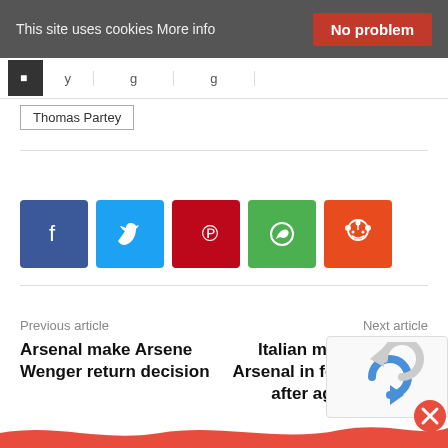This site uses cookies More info | No problem
Thomas Partey
[Figure (infographic): Social share buttons row: Facebook (blue), Twitter (light blue), Pinterest (red), WhatsApp (green), Reddit (orange-red)]
Previous article
Arsenal make Arsene Wenger return decision
Next article
Italian media confirm Arsenal in for midfielder after agent meeting